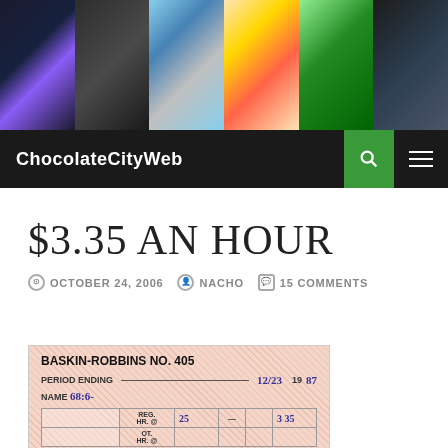[Figure (photo): Website header banner with collage of Washington DC photos including the Washington Monument with lightning, a person in a hat, Capitol Centre sign, Ben's Chili Bowl, Shops at Mall sign, and a Metro station]
ChocolateCityWeb
$3.35 AN HOUR
OCTOBER 24, 2006  NACHO  15 COMMENTS
[Figure (photo): Baskin-Robbins No. 405 pay stub showing period ending 12/23 1987, name (handwritten), REG HR @ 25 – 3.35, TOTAL EARNINGS 83.75, F.I.C.A. 5 90]